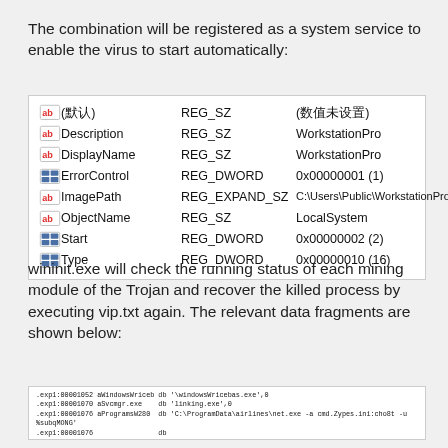The combination will be registered as a system service to enable the virus to start automatically:
[Figure (screenshot): Windows Registry Editor screenshot showing registry keys for WorkstationPro service including Description, DisplayName, ErrorControl, ImagePath, ObjectName, Start, and Type entries.]
wininit.exe will check the running status of each mining module of the Trojan and recover the killed process by executing vip.txt again. The relevant data fragments are shown below:
[Figure (screenshot): Assembly/disassembly code fragment showing references to wininit.exe, svchost.exe, MicrosoftEdgeCP.exe, UsersPublicMicrosoftEdgeCP.exe, and pool.com mining commands.]